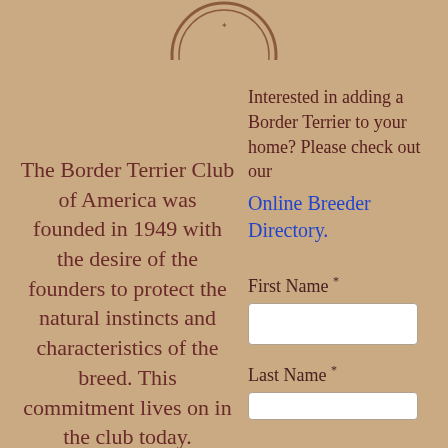[Figure (logo): Partial circular logo/seal of the Border Terrier Club of America, showing bottom arc with text 'OF AMERICA']
The Border Terrier Club of America was founded in 1949 with the desire of the founders to protect the natural instincts and characteristics of the breed. This commitment lives on in the club today.
Interested in adding a Border Terrier to your home? Please check out our Online Breeder Directory.
First Name *
Last Name *